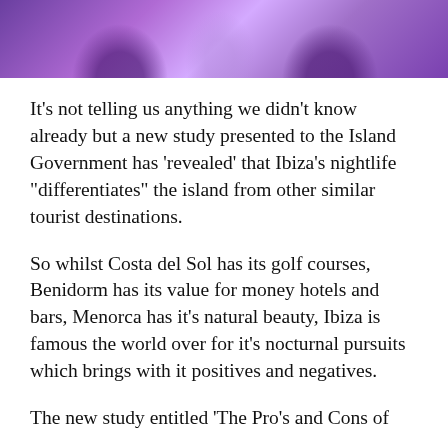[Figure (photo): Purple-toned nightlife photo showing silhouettes of people dancing, cropped at the top of the page]
It’s not telling us anything we didn’t know already but a new study presented to the Island Government has ‘revealed’ that Ibiza’s nightlife “differentiates” the island from other similar tourist destinations.
So whilst Costa del Sol has its golf courses, Benidorm has its value for money hotels and bars, Menorca has it’s natural beauty, Ibiza is famous the world over for it’s nocturnal pursuits which brings with it positives and negatives.
The new study entitled ‘The Pro’s and Cons of